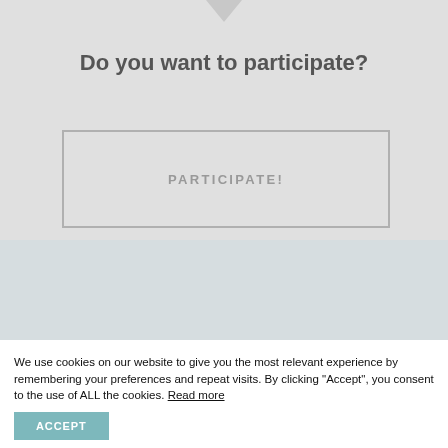Do you want to participate?
PARTICIPATE!
[Figure (logo): GitHub octocat logo inside a circle]
We use cookies on our website to give you the most relevant experience by remembering your preferences and repeat visits. By clicking "Accept", you consent to the use of ALL the cookies. Read more
ACCEPT